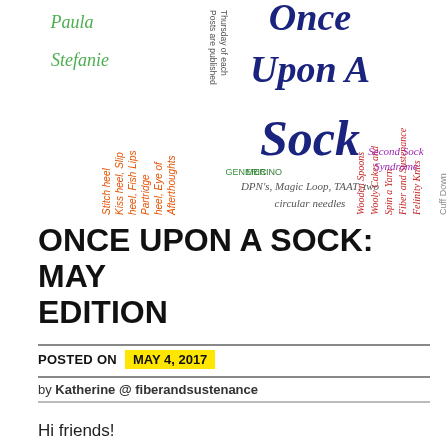[Figure (infographic): Once Upon A Sock word cloud / banner image featuring colorful rotated text labels including participant names (Paula, Stefanie), sock knitting techniques (Afterthought heel, Eye of Partridge, heel Fish Lips, Kiss heel, Slip Stitch heel), yarn types (MERINO, GENERIC), method options (DPN's, Magic Loop, TAAT, two circular needles), blog names (Felinity Knits, Fiber and Sustenance, Spin a Yarn, Wooly Cakes and Wooden Spoons), (Second Sock Syndrome, Cuff Down), and the large central title 'Once Upon A Sock' in dark blue bold italic text.]
ONCE UPON A SOCK: MAY EDITION
POSTED ON  MAY 4, 2017
by Katherine @ fiberandsustenance
Hi friends!